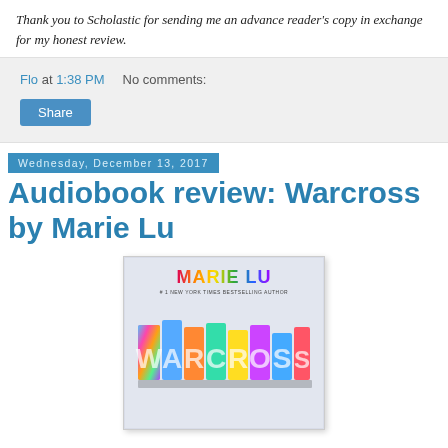Thank you to Scholastic for sending me an advance reader's copy in exchange for my honest review.
Flo at 1:38 PM   No comments:
Share
Wednesday, December 13, 2017
Audiobook review: Warcross by Marie Lu
[Figure (photo): Book cover of Warcross by Marie Lu showing the author name in colorful rainbow 3D block letters at the top, subtitle #1 New York Times Bestselling Author, and the word WARCROSS in large colorful 3D letters below]